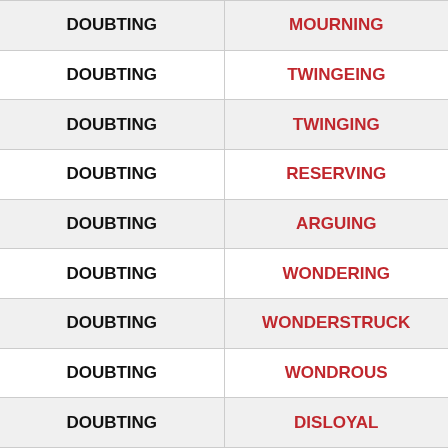| Word | Rhyme |
| --- | --- |
| DOUBTING | MOURNING |
| DOUBTING | TWINGEING |
| DOUBTING | TWINGING |
| DOUBTING | RESERVING |
| DOUBTING | ARGUING |
| DOUBTING | WONDERING |
| DOUBTING | WONDERSTRUCK |
| DOUBTING | WONDROUS |
| DOUBTING | DISLOYAL |